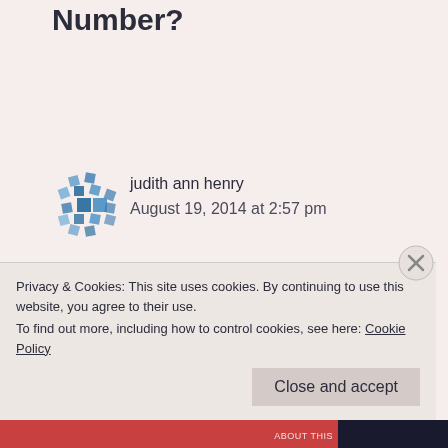Number?
[Figure (illustration): Avatar icon for judith ann henry — blue geometric/mosaic pattern avatar]
judith ann henry
August 19, 2014 at 2:57 pm
dearest Grace, thank you so much for this “telephone” moment…one of our sons is just now reconnecting and our hearts swell at the luxury of his voice and thoughts…and your experience is heart wrenching to know of the “other” boy and the
Privacy & Cookies: This site uses cookies. By continuing to use this website, you agree to their use.
To find out more, including how to control cookies, see here: Cookie Policy
Close and accept